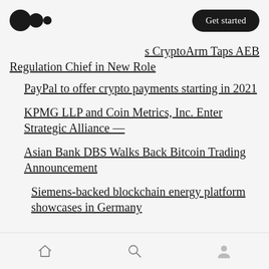Medium logo | Get started
s CryptoArm Taps AEB Regulation Chief in New Role
PayPal to offer crypto payments starting in 2021
KPMG LLP and Coin Metrics, Inc. Enter Strategic Alliance —
Asian Bank DBS Walks Back Bitcoin Trading Announcement
Siemens-backed blockchain energy platform showcases in Germany
Home | Search | Profile